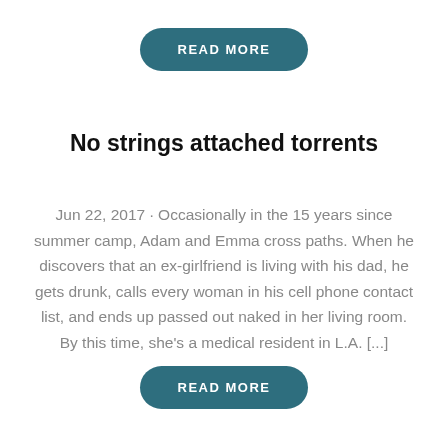[Figure (other): READ MORE button (teal pill-shaped button) at top]
No strings attached torrents
Jun 22, 2017 · Occasionally in the 15 years since summer camp, Adam and Emma cross paths. When he discovers that an ex-girlfriend is living with his dad, he gets drunk, calls every woman in his cell phone contact list, and ends up passed out naked in her living room. By this time, she's a medical resident in L.A. [...]
[Figure (other): READ MORE button (teal pill-shaped button) at bottom]